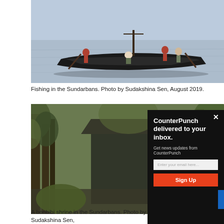[Figure (photo): Fishing boat on the Sundarbans water with people rowing and fishing]
Fishing in the Sundarbans. Photo by Sudakshina Sen, August 2019.
[Figure (photo): A bonbibi shrine in the Sundarbans mangrove forest]
A bonbibi shrine in the Sundarbans. Photo by Sudakshina Sen,
[Figure (infographic): CounterPunch newsletter signup modal popup with black background, title 'CounterPunch delivered to your inbox.', email input field, and orange Sign Up button]